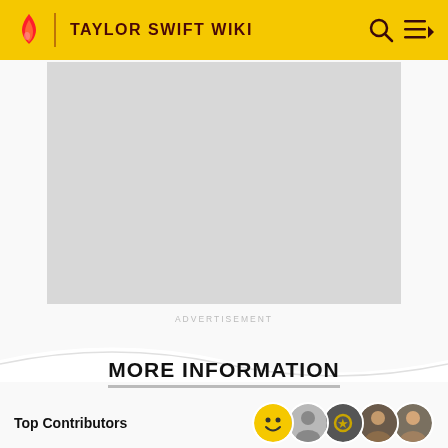TAYLOR SWIFT WIKI
[Figure (other): Advertisement placeholder — large grey rectangle]
ADVERTISEMENT
MORE INFORMATION
Top Contributors